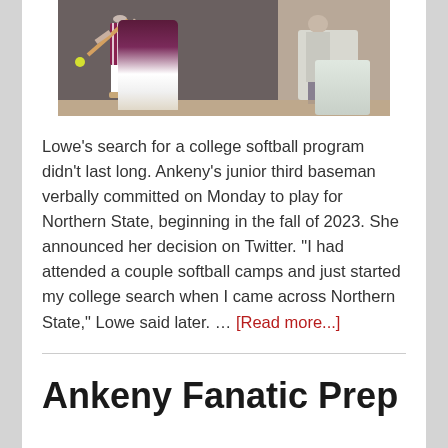[Figure (photo): A softball player in maroon/pink pinstripe uniform swinging a bat, with another player visible in the background on a dirt field.]
Lowe's search for a college softball program didn't last long. Ankeny's junior third baseman verbally committed on Monday to play for Northern State, beginning in the fall of 2023. She announced her decision on Twitter. "I had attended a couple softball camps and just started my college search when I came across Northern State," Lowe said later. … [Read more...]
Ankeny Fanatic Prep